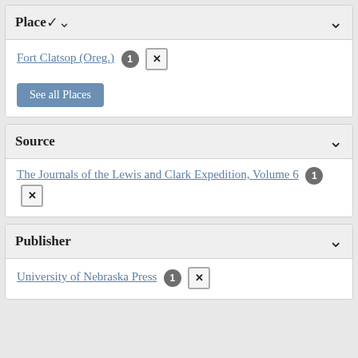Place
Fort Clatsop (Oreg.) 1 ✕
See all Places
Source
The Journals of the Lewis and Clark Expedition, Volume 6 1 ✕
Publisher
University of Nebraska Press 1 ✕